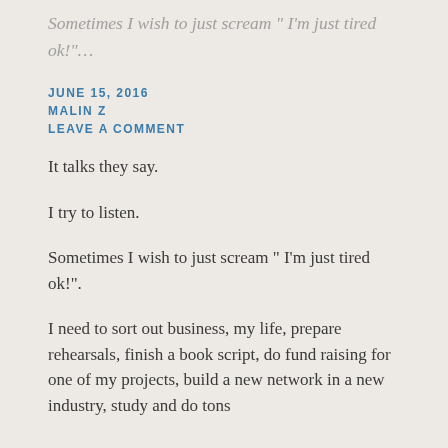Sometimes I wish to just scream “ I’m just tired ok!”…
JUNE 15, 2016
MALIN Z
LEAVE A COMMENT
It talks they say.
I try to listen.
Sometimes I wish to just scream “ I’m just tired ok!”.
I need to sort out business, my life, prepare rehearsals, finish a book script, do fund raising for one of my projects, build a new network in a new industry, study and do tons